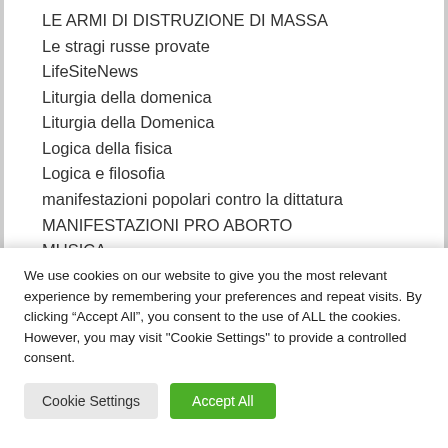LE ARMI DI DISTRUZIONE DI MASSA
Le stragi russe provate
LifeSiteNews
Liturgia della domenica
Liturgia della Domenica
Logica della fisica
Logica e filosofia
manifestazioni popolari contro la dittatura
MANIFESTAZIONI PRO ABORTO
MUSICA
Musica sacra
We use cookies on our website to give you the most relevant experience by remembering your preferences and repeat visits. By clicking “Accept All”, you consent to the use of ALL the cookies. However, you may visit "Cookie Settings" to provide a controlled consent.